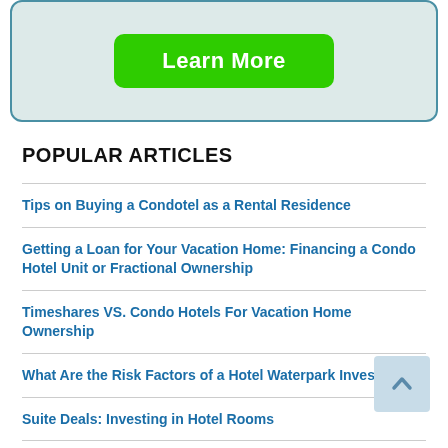[Figure (other): Green 'Learn More' button inside a light blue-green rounded box]
POPULAR ARTICLES
Tips on Buying a Condotel as a Rental Residence
Getting a Loan for Your Vacation Home: Financing a Condo Hotel Unit or Fractional Ownership
Timeshares VS. Condo Hotels For Vacation Home Ownership
What Are the Risk Factors of a Hotel Waterpark Investment?
Suite Deals: Investing in Hotel Rooms